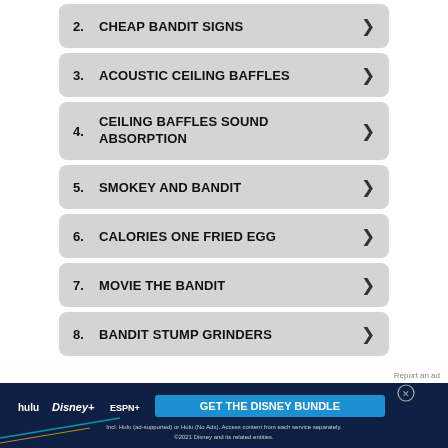2. CHEAP BANDIT SIGNS
3. ACOUSTIC CEILING BAFFLES
4. CEILING BAFFLES SOUND ABSORPTION
5. SMOKEY AND BANDIT
6. CALORIES ONE FRIED EGG
7. MOVIE THE BANDIT
8. BANDIT STUMP GRINDERS
[Figure (infographic): Disney Bundle advertisement banner with Hulu, Disney+, and ESPN+ logos and GET THE DISNEY BUNDLE call to action]